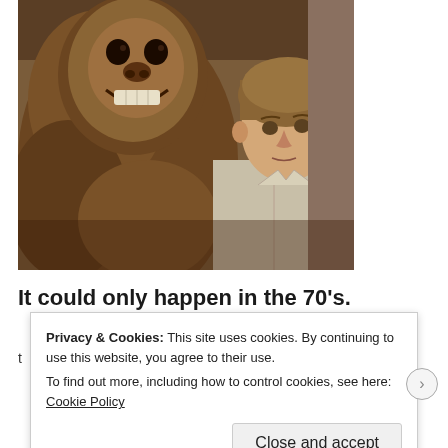[Figure (photo): Vintage 1970s promotional photo showing a large Bigfoot/Sasquatch creature in fur suit on the left, and a man in a light shirt on the right, posed together against a rocky background.]
It could only happen in the 70's.
Privacy & Cookies: This site uses cookies. By continuing to use this website, you agree to their use.
To find out more, including how to control cookies, see here: Cookie Policy
Close and accept